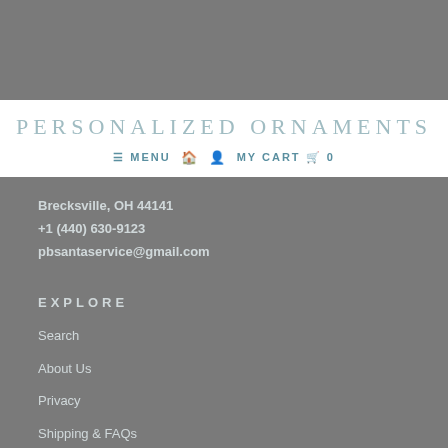PERSONALIZED ORNAMENTS
≡ MENU   🏠   👤   MY CART 🛒 0
Brecksville, OH 44141
+1 (440) 630-9123
pbsantaservice@gmail.com
EXPLORE
Search
About Us
Privacy
Shipping & FAQs
Testimonials
Blog